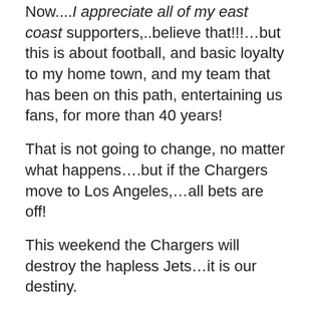Now....I appreciate all of my east coast supporters,..believe that!!!…but this is about football, and basic loyalty to my home town, and my team that has been on this path, entertaining us fans, for more than 40 years!
That is not going to change, no matter what happens….but if the Chargers move to Los Angeles,…all bets are off!
This weekend the Chargers will destroy the hapless Jets…it is our destiny.
Bet the farm!!!..
[picapp align="center" wrap="false" link="term=ladainian+tomlinson&iid=7371483" src="0/6/1/0/Tomlinson_scores_against_1bff.JPG?